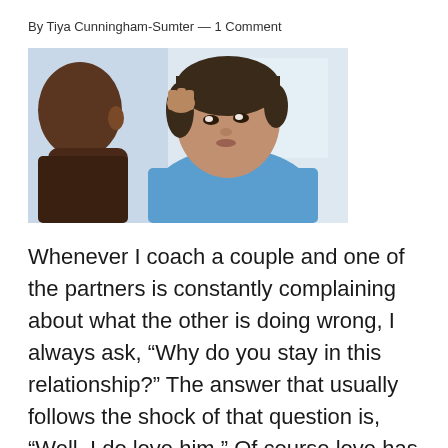By Tiya Cunningham-Sumter — 1 Comment
[Figure (photo): A couple in conversation; a man seen from behind and a woman in a blue top looking at him with a thoughtful expression, hand raised to her head.]
Whenever I coach a couple and one of the partners is constantly complaining about what the other is doing wrong, I always ask, “Why do you stay in this relationship?” The answer that usually follows the shock of that question is, “Well, I do love him.” Of course love has to be present in order for